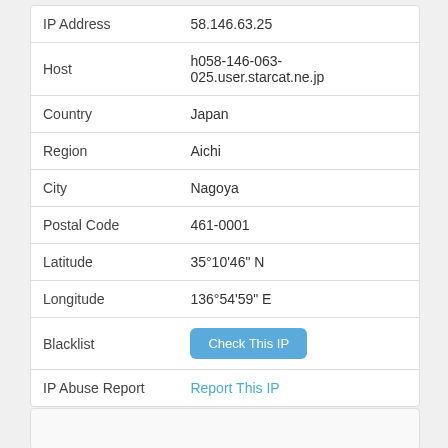| Field | Value |
| --- | --- |
| IP Address | 58.146.63.25 |
| Host | h058-146-063-025.user.starcat.ne.jp |
| Country | Japan |
| Region | Aichi |
| City | Nagoya |
| Postal Code | 461-0001 |
| Latitude | 35°10'46" N |
| Longitude | 136°54'59" E |
| Blacklist | [Check This IP button] |
| IP Abuse Report | Report This IP |